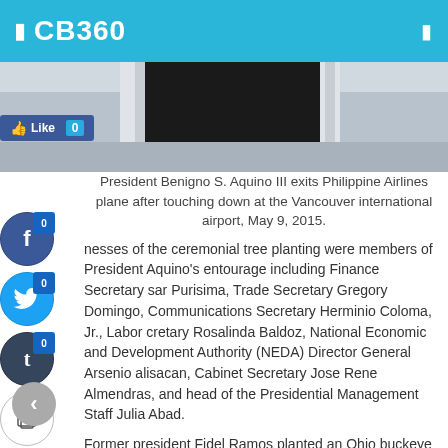CB360
[Figure (photo): Partial view of Philippine Airlines plane door/steps at Vancouver international airport]
President Benigno S. Aquino III exits Philippine Airlines plane after touching down at the Vancouver international airport, May 9, 2015.
Witnesses of the ceremonial tree planting were members of President Aquino's entourage including Finance Secretary Cesar Purisima, Trade Secretary Gregory Domingo, Communications Secretary Herminio Coloma, Jr., Labor Secretary Rosalinda Baldoz, National Economic and Development Authority (NEDA) Director General Arsenio Balisacan, Cabinet Secretary Jose Rene Almendras, and head of the Presidential Management Staff Julia Abad.
Former president Fidel Ramos planted an Ohio buckeye when he made his state visit to Canada in 1997.
Planting a tree on the grounds of Rideau Hall is a tradition